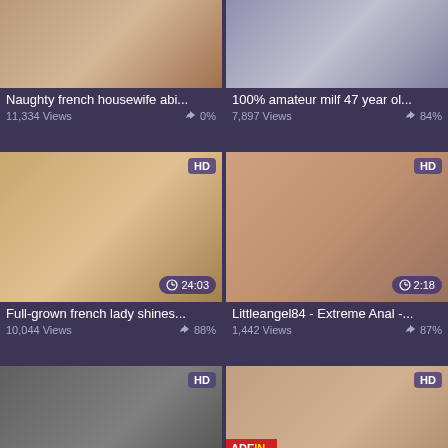[Figure (screenshot): Video thumbnail grid showing adult video website with 6 video cards in a 2-column layout]
Naughty french housewife abi...
11,334 Views  0%
100% amateur milf 47 year ol...
7,897 Views  84%
Full-grown french lady shines...
10,044 Views  88%
Littleangel84 - Extreme Anal -...
1,442 Views  87%
25:00
10:28